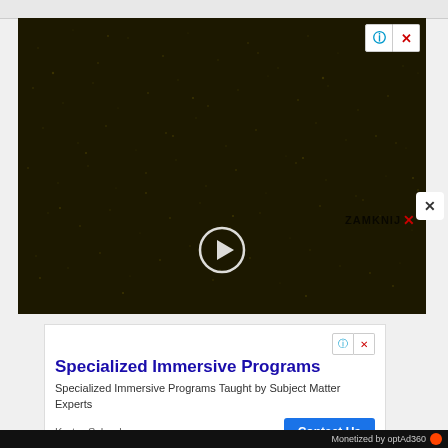[Figure (screenshot): Video player with dark grainy night-sky background, play button, ZAMKNIJ X close label, and info/close buttons in top-right corner]
[Figure (screenshot): Advertisement banner for 'Specialized Immersive Programs' from Karter School with Contact Us button and optAd360 info/close controls]
Monetized by optAd360